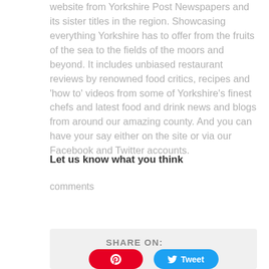website from Yorkshire Post Newspapers and its sister titles in the region. Showcasing everything Yorkshire has to offer from the fruits of the sea to the fields of the moors and beyond. It includes unbiased restaurant reviews by renowned food critics, recipes and 'how to' videos from some of Yorkshire's finest chefs and latest food and drink news and blogs from around our amazing county. And you can have your say either on the site or via our Facebook and Twitter accounts.
Let us know what you think
comments
[Figure (infographic): Share on section with light grey background containing 'SHARE ON:' label and two social sharing buttons: a red Pinterest button and a blue Tweet button.]